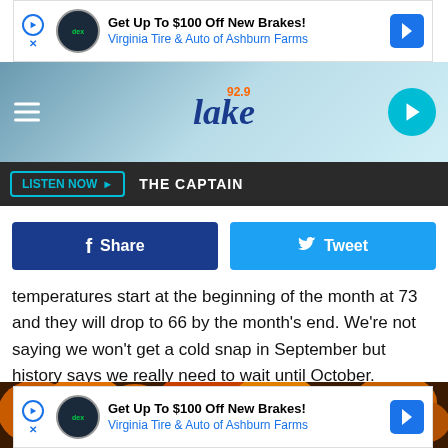[Figure (screenshot): Top advertisement banner: Get Up To $100 Off New Brakes! Virginia Tire & Auto of Ashburn Farms]
[Figure (screenshot): 92.9 Lake radio station header with hamburger menu, Lake logo, and play button]
LISTEN NOW ▶   THE CAPTAIN
[Figure (screenshot): Facebook Share and Twitter Tweet buttons]
temperatures start at the beginning of the month at 73 and they will drop to 66 by the month's end. We're not saying we won't get a cold snap in September but history says we really need to wait until October.
[Figure (photo): Autumn forest scene with orange and yellow fall foliage]
[Figure (screenshot): Bottom advertisement banner: Get Up To $100 Off New Brakes! Virginia Tire & Auto of Ashburn Farms]